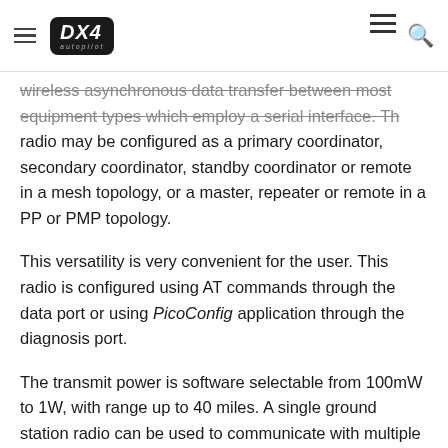PX4 Autopilot
wireless asynchronous data transfer between most equipment types which employ a serial interface. The radio may be configured as a primary coordinator, secondary coordinator, standby coordinator or remote in a mesh topology, or a master, repeater or remote in a PP or PMP topology.
This versatility is very convenient for the user. This radio is configured using AT commands through the data port or using PicoConfig application through the diagnosis port.
The transmit power is software selectable from 100mW to 1W, with range up to 40 miles. A single ground station radio can be used to communicate with multiple vehicles using point to multi-point or mesh.